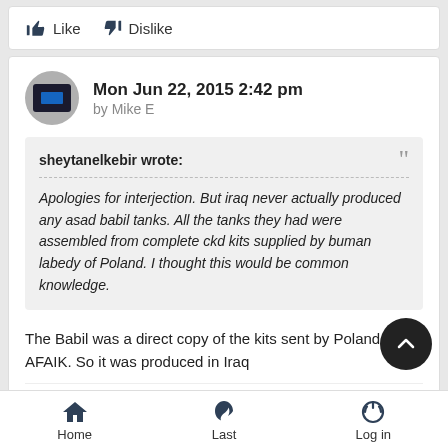[Figure (other): Like and Dislike buttons at top of page]
Mon Jun 22, 2015 2:42 pm
by Mike E
sheytanelkebir wrote:
Apologies for interjection. But iraq never actually produced any asad babil tanks. All the tanks they had were assembled from complete ckd kits supplied by buman labedy of Poland. I thought this would be common knowledge.
The Babil was a direct copy of the kits sent by Poland AFAIK. So it was produced in Iraq
[Figure (other): Like and Dislike buttons at bottom of comment]
Home  Last  Log in